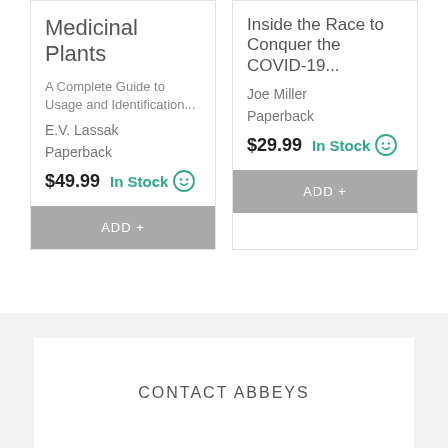Medicinal Plants
A Complete Guide to Usage and Identification...
E.V. Lassak
Paperback
$49.99  In Stock
ADD +
Inside the Race to Conquer the COVID-19...
Joe Miller
Paperback
$29.99  In Stock
ADD +
CONTACT ABBEYS